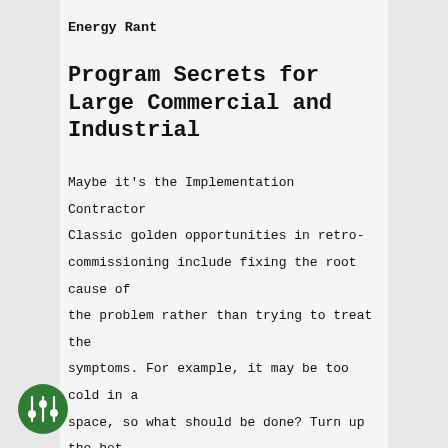Energy Rant
Program Secrets for Large Commercial and Industrial
Maybe it's the Implementation Contractor Classic golden opportunities in retro-commissioning include fixing the root cause of the problem rather than trying to treat the symptoms. For example, it may be too cold in a space, so what should be done? Turn up the hot water temperature, of course! No. The problem could be any number of things like a new partition (wall) being installed, isolating one space with a diffuser from another space that has the thermostat. Or my favorite – parking a 1 kW printer under the temperature sensor. We were RCx geniuses in ha school. When our
[Figure (logo): Green circular logo with audio/slider equalizer icon in white on green background]